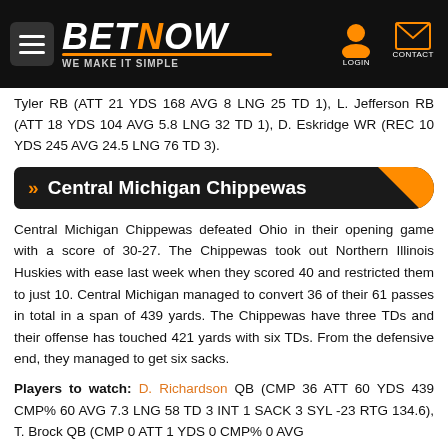BETNOW — WE MAKE IT SIMPLE
Tyler RB (ATT 21 YDS 168 AVG 8 LNG 25 TD 1), L. Jefferson RB (ATT 18 YDS 104 AVG 5.8 LNG 32 TD 1), D. Eskridge WR (REC 10 YDS 245 AVG 24.5 LNG 76 TD 3).
» Central Michigan Chippewas
Central Michigan Chippewas defeated Ohio in their opening game with a score of 30-27. The Chippewas took out Northern Illinois Huskies with ease last week when they scored 40 and restricted them to just 10. Central Michigan managed to convert 36 of their 61 passes in total in a span of 439 yards. The Chippewas have three TDs and their offense has touched 421 yards with six TDs. From the defensive end, they managed to get six sacks.
Players to watch: D. Richardson QB (CMP 36 ATT 60 YDS 439 CMP% 60 AVG 7.3 LNG 58 TD 3 INT 1 SACK 3 SYL -23 RTG 134.6), T. Brock QB (CMP 0 ATT 1 YDS 0 CMP% 0 AVG